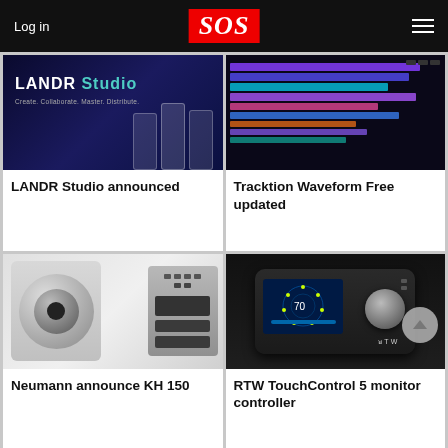Log in | SOS | menu
[Figure (photo): LANDR Studio product announcement image showing app interface on phones with text 'LANDR Studio - Create. Collaborate. Master. Distribute.']
LANDR Studio announced
[Figure (screenshot): Tracktion Waveform Free DAW interface screenshot showing timeline and tracks]
Tracktion Waveform Free updated
[Figure (photo): Neumann KH 150 studio monitor speaker shown from front and rear]
Neumann announce KH 150
[Figure (photo): RTW TouchControl 5 monitor controller device with joystick and touchscreen]
RTW TouchControl 5 monitor controller
[Figure (photo): Partial bottom left image showing audio equipment with APEX branding]
[Figure (photo): Partial bottom right image with colorful purple/pink/orange lighting]